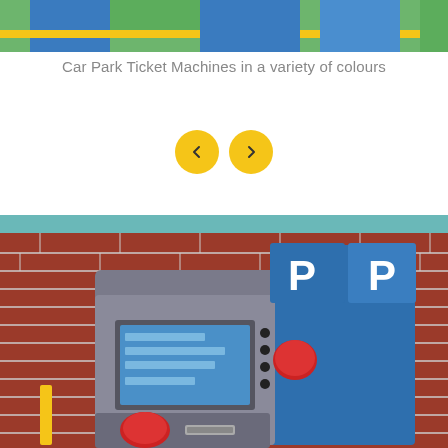[Figure (photo): Top portion of a car park ticket machine showing colorful panels in green, blue, and yellow colors]
Car Park Ticket Machines in a variety of colours
[Figure (other): Navigation arrows: left arrow and right arrow buttons in yellow/gold circular buttons]
[Figure (photo): A blue car park ticket machine with white 'P' parking signs on top, mounted against a red brick wall with a yellow beam above. The machine has a display screen, red buttons, and coin/card payment slots.]